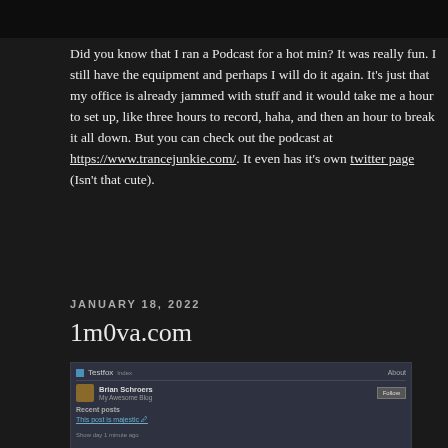[Figure (screenshot): Dark top strip showing partial image at top of page]
Did you know that I ran a Podcast for a hot min?  It was really fun.  I still have the equipment and perhaps I will do it again.  It's just that my office is already jammed with stuff and it would take me a hour to set up, like three hours to record, haha, and then an hour to break it all down.  But you can check out the podcast at https://www.trancejunkie.com/.  It even has it's own twitter page (Isn't that cute).
JANUARY 18, 2022
1m0va.com
[Figure (screenshot): Screenshot of 1m0va.com website showing a blog interface with user Brian Schroers, a Follow button, Recent posts section, and a link 'This post is majestic']